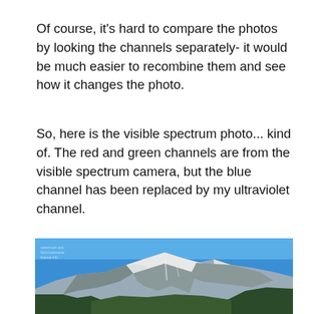Of course, it's hard to compare the photos by looking the channels separately- it would be much easier to recombine them and see how it changes the photo.
So, here is the visible spectrum photo... kind of. The red and green channels are from the visible spectrum camera, but the blue channel has been replaced by my ultraviolet channel.
[Figure (photo): A mountain with snow-covered peaks against a bright blue sky, with green forested lower slopes. Small watermark text visible in upper-left corner.]